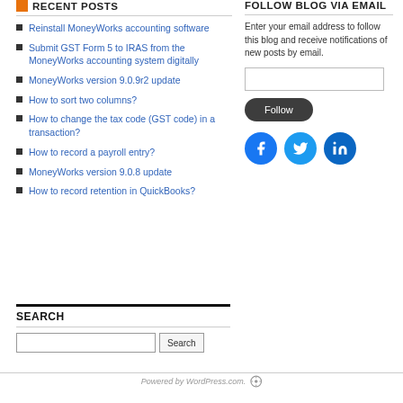RECENT POSTS
Reinstall MoneyWorks accounting software
Submit GST Form 5 to IRAS from the MoneyWorks accounting system digitally
MoneyWorks version 9.0.9r2 update
How to sort two columns?
How to change the tax code (GST code) in a transaction?
How to record a payroll entry?
MoneyWorks version 9.0.8 update
How to record retention in QuickBooks?
SEARCH
FOLLOW BLOG VIA EMAIL
Enter your email address to follow this blog and receive notifications of new posts by email.
Powered by WordPress.com.